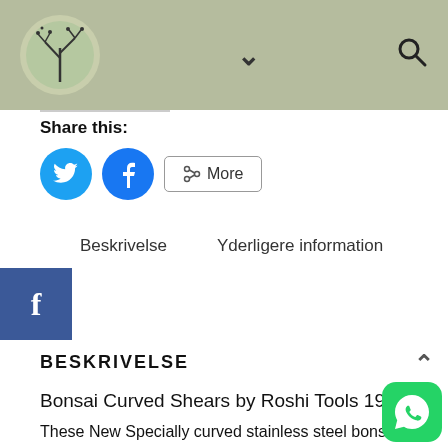[Figure (screenshot): Website header bar with sage/olive green background, circular tree branch logo on left, chevron dropdown icon in center, and search magnifying glass icon on right]
Share this:
[Figure (infographic): Three share buttons: Twitter (blue circle with bird icon), Facebook (blue circle with f icon), and a 'More' button with share icon]
Beskrivelse    Yderligere information
[Figure (logo): Facebook widget blue square with white 'f' letter]
BESKRIVELSE
Bonsai Curved Shears by Roshi Tools 190 mm
These New Specially curved stainless steel bonsai tree shears are a pleasure to hold in your hand and to work with. Designed to help your wrist and arm stay more relaxed while you work.